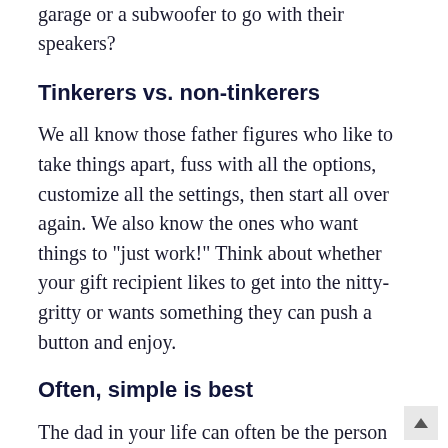garage or a subwoofer to go with their speakers?
Tinkerers vs. non-tinkerers
We all know those father figures who like to take things apart, fuss with all the options, customize all the settings, then start all over again. We also know the ones who want things to “just work!” Think about whether your gift recipient likes to get into the nitty-gritty or wants something they can push a button and enjoy.
Often, simple is best
The dad in your life can often be the person who thinks of themselves as the provider and takes pride in being the gift giver, not the recipient. A gift for